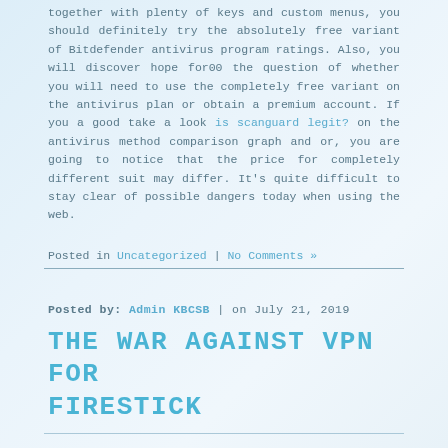together with plenty of keys and custom menus, you should definitely try the absolutely free variant of Bitdefender antivirus program ratings. Also, you will discover hope for00 the question of whether you will need to use the completely free variant on the antivirus plan or obtain a premium account. If you a good take a look is scanguard legit? on the antivirus method comparison graph and or, you are going to notice that the price for completely different suit may differ. It's quite difficult to stay clear of possible dangers today when using the web.
Posted in Uncategorized | No Comments »
Posted by: Admin KBCSB | on July 21, 2019
THE WAR AGAINST VPN FOR FIRESTICK
What About Vpn for Firestick?
Simplicity of Use For everybody who is considering using a VPN for that very first time, afterward ExpressVPN have very user-friendly software gows quick and simple to be able to set-up on just about